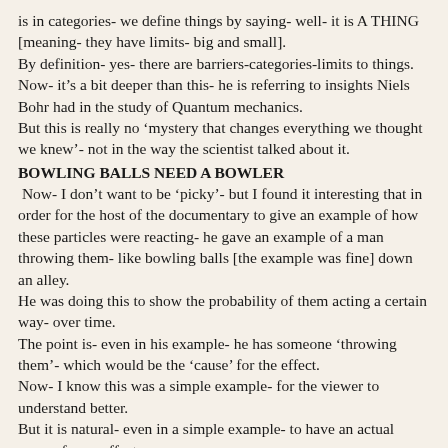is in categories- we define things by saying- well- it is A THING [meaning- they have limits- big and small].
By definition- yes- there are barriers-categories-limits to things.
Now- it's a bit deeper than this- he is referring to insights Niels Bohr had in the study of Quantum mechanics.
But this is really no 'mystery that changes everything we thought we knew'- not in the way the scientist talked about it.
BOWLING BALLS NEED A BOWLER
Now- I don't want to be 'picky'- but I found it interesting that in order for the host of the documentary to give an example of how these particles were reacting- he gave an example of a man throwing them- like bowling balls [the example was fine] down an alley.
He was doing this to show the probability of them acting a certain way- over time.
The point is- even in his example- he has someone 'throwing them'- which would be the 'cause' for the effect.
Now- I know this was a simple example- for the viewer to understand better.
But it is natural- even in a simple example- to have an actual cause- for an effect.
And what he was trying to show in the example- was that there was